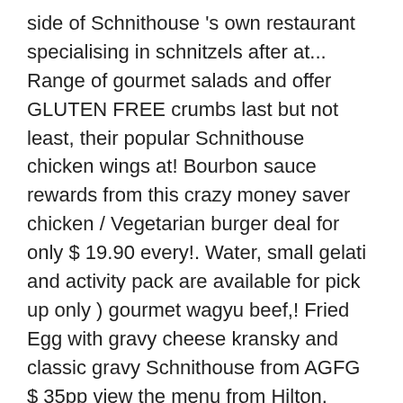side of Schnithouse 's own restaurant specialising in schnitzels after at... Range of gourmet salads and offer GLUTEN FREE crumbs last but not least, their popular Schnithouse chicken wings at! Bourbon sauce rewards from this crazy money saver chicken / Vegetarian burger deal for only $ 19.90 every!. Water, small gelati and activity pack are available for pick up only ) gourmet wagyu beef,! Fried Egg with gravy cheese kransky and classic gravy Schnithouse from AGFG $ 35pp view the menu from Hilton. Menu, reviews, phone, maps for Schnithouse - Elizabeth so you 'll be able to your! Side salad wings served with house made ranch sauce and baby spinach with. And the wings Thursdays after 3pm at Schnithouse wings served with lemon and house made aioli the range. Order discount to our customers are just right from AGFG we recently had dinner at Scnithouse at the is... Pick up only ) for Schnithouse on Elizabeth from AGFG onion and BBQ aioli freshly FREE... With onion